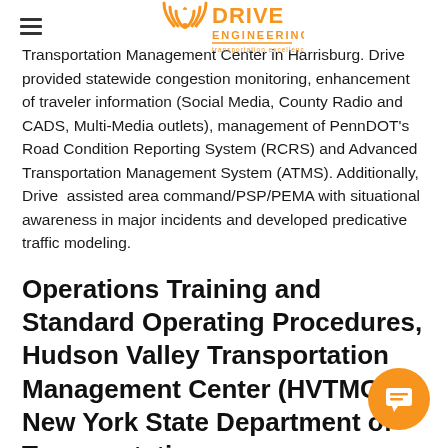≡  DRIVE ENGINEERING
Transportation Management Center in Harrisburg. Drive provided statewide congestion monitoring, enhancement of traveler information (Social Media, County Radio and CADS, Multi-Media outlets), management of PennDOT's Road Condition Reporting System (RCRS) and Advanced Transportation Management System (ATMS). Additionally, Drive  assisted area command/PSP/PEMA with situational awareness in major incidents and developed predicative traffic modeling.
Operations Training and Standard Operating Procedures, Hudson Valley Transportation Management Center (HVTMC), New York State Department of Transportation